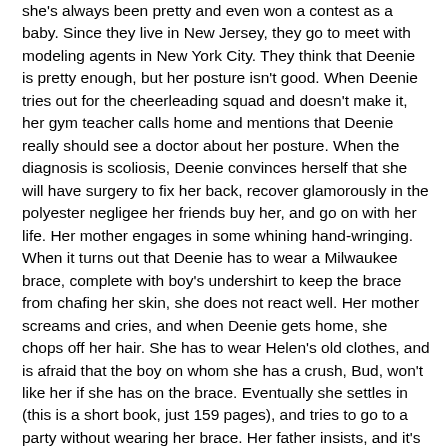she's always been pretty and even won a contest as a baby. Since they live in New Jersey, they go to meet with modeling agents in New York City. They think that Deenie is pretty enough, but her posture isn't good. When Deenie tries out for the cheerleading squad and doesn't make it, her gym teacher calls home and mentions that Deenie really should see a doctor about her posture. When the diagnosis is scoliosis, Deenie convinces herself that she will have surgery to fix her back, recover glamorously in the polyester negligee her friends buy her, and go on with her life. Her mother engages in some whining hand-wringing. When it turns out that Deenie has to wear a Milwaukee brace, complete with boy's undershirt to keep the brace from chafing her skin, she does not react well. Her mother screams and cries, and when Deenie gets home, she chops off her hair. She has to wear Helen's old clothes, and is afraid that the boy on whom she has a crush, Bud, won't like her if she has on the brace. Eventually she settles in (this is a short book, just 159 pages), and tries to go to a party without wearing her brace. Her father insists, and it's okay because Bud likes her and kisses her even though she is wearing it.